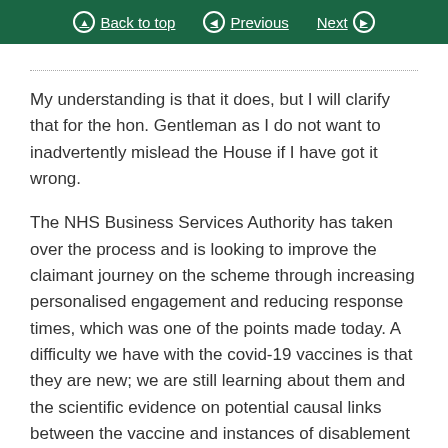Back to top | Previous | Next
My understanding is that it does, but I will clarify that for the hon. Gentleman as I do not want to inadvertently mislead the House if I have got it wrong.
The NHS Business Services Authority has taken over the process and is looking to improve the claimant journey on the scheme through increasing personalised engagement and reducing response times, which was one of the points made today. A difficulty we have with the covid-19 vaccines is that they are new; we are still learning about them and the scientific evidence on potential causal links between the vaccine and instances of disablement is still developing. That is one of the reasons for the